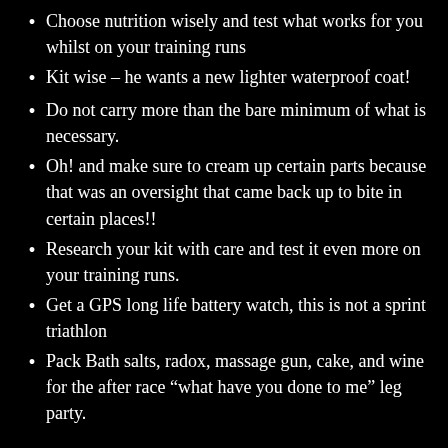Choose nutrition wisely and test what works for you whilst on your training runs
Kit wise – he wants a new lighter waterproof coat!
Do not carry more than the bare minimum of what is necessary.
Oh! and make sure to cream up certain parts because that was an oversight that came back up to bite in certain places!!
Research your kit with care and test it even more on your training runs.
Get a GPS long life battery watch, this is not a sprint triathlon
Pack Bath salts, radox, massage gun, cake, and wine for the after race “what have you done to me” leg party.